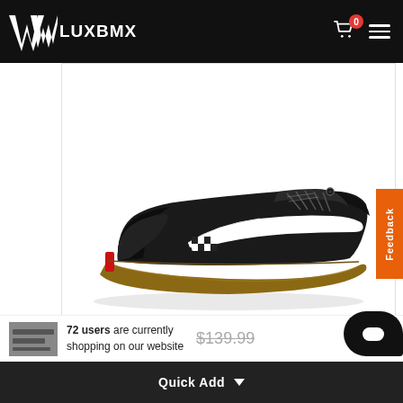LUXBMX
[Figure (photo): Vans Skate Classic Old Skool Pro shoe in black suede with white side stripe, checkerboard patch, and gum sole, shown from the side on white background]
Vans Skate Classic Old Skool Pro Shoes / Black/G
72 users are currently shopping on our website
$139.99
Quick Add